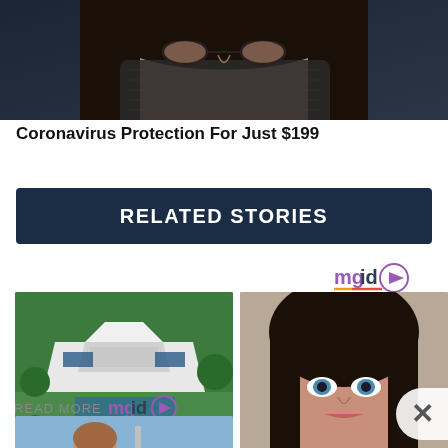[Figure (photo): Close-up photo of a woman wearing a dark mesh face mask, near top of page]
Coronavirus Protection For Just $199
RELATED STORIES
[Figure (logo): mgid logo with orange/yellow underline and play button icon, top right]
[Figure (photo): Aerial view of a large white modern building surrounded by green landscape]
[Figure (photo): Close-up portrait of a young woman with blue eyes and dark hair against grey background]
READ MORE
[Figure (logo): mgid logo with orange/yellow underline and play button icon]
[Figure (photo): Young woman in yellow outfit on a boat with water in the background]